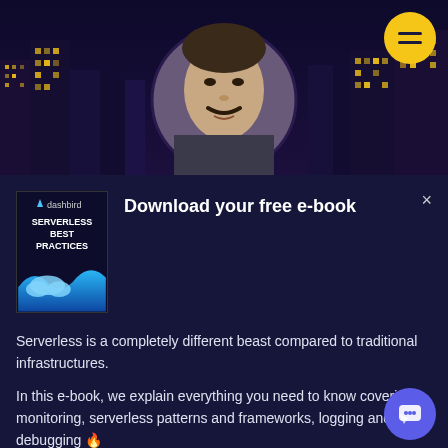[Figure (photo): Screenshot of a website with a nighttime city skyline background and a circular headshot of a man with a mustache in the center. A yellow hamburger menu button is in the top right corner.]
Download your free e-book
[Figure (illustration): E-book cover for 'Serverless Best Practices' with a blue wave/cloud graphic on dark background]
Serverless is a completely different beast compared to traditional infrastructures.
In this e-book, we explain everything you need to know covering monitoring, serverless patterns and frameworks, logging and debugging 🔥
Download now